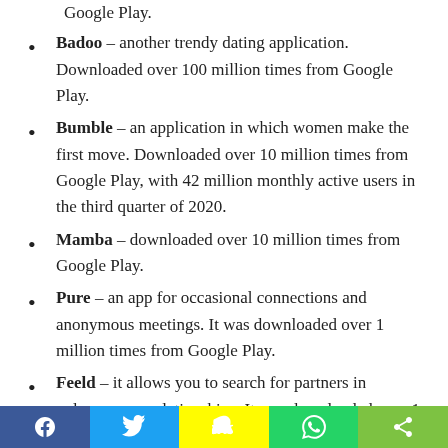Google Play.
Badoo – another trendy dating application. Downloaded over 100 million times from Google Play.
Bumble – an application in which women make the first move. Downloaded over 10 million times from Google Play, with 42 million monthly active users in the third quarter of 2020.
Mamba – downloaded over 10 million times from Google Play.
Pure – an app for occasional connections and anonymous meetings. It was downloaded over 1 million times from Google Play.
Feeld – it allows you to search for partners in polyamorous relationships. It was downloaded over 1 million times from Google Play.
Social share bar: Facebook, Twitter, Snapchat, WhatsApp, Share